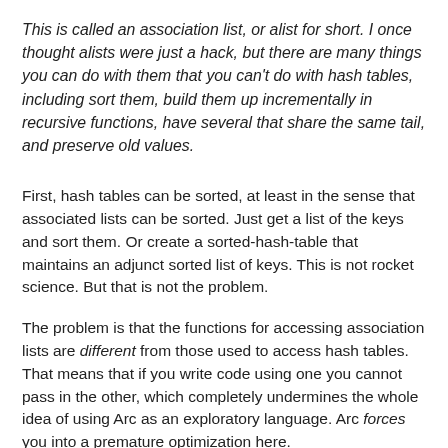This is called an association list, or alist for short. I once thought alists were just a hack, but there are many things you can do with them that you can't do with hash tables, including sort them, build them up incrementally in recursive functions, have several that share the same tail, and preserve old values.
First, hash tables can be sorted, at least in the sense that associated lists can be sorted. Just get a list of the keys and sort them. Or create a sorted-hash-table that maintains an adjunct sorted list of keys. This is not rocket science. But that is not the problem.
The problem is that the functions for accessing association lists are different from those used to access hash tables. That means that if you write code using one you cannot pass in the other, which completely undermines the whole idea of using Arc as an exploratory language. Arc forces you into a premature optimization here.